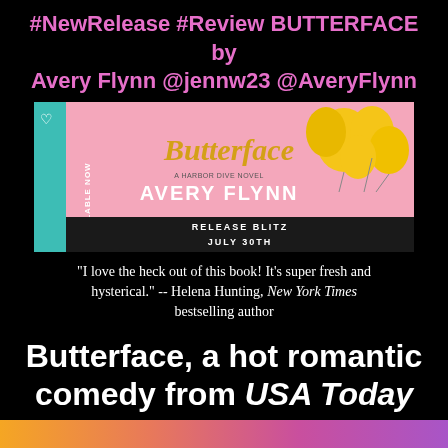#NewRelease #Review BUTTERFACE by Avery Flynn @jennw23 @AveryFlynn
[Figure (illustration): Book banner for Butterface by Avery Flynn. Pink background with yellow balloons, gold script title 'Butterface', author name 'AVERY FLYNN' in bold white, black bar at bottom reading 'RELEASE BLITZ JULY 30TH', teal strip on left reading 'AVAILABLE NOW'.]
“I love the heck out of this book! It’s super fresh and hysterical.” -- Helena Hunting, New York Times bestselling author
Butterface, a hot romantic comedy from USA Today bestselling author Avery Flynn, is LIVE!